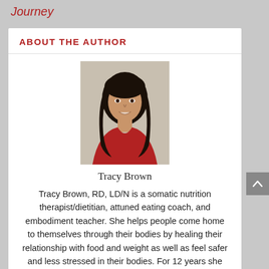Journey
ABOUT THE AUTHOR
[Figure (photo): Headshot of Tracy Brown, a woman with long dark hair wearing a red top, photographed against a neutral background.]
Tracy Brown
Tracy Brown, RD, LD/N is a somatic nutrition therapist/dietitian, attuned eating coach, and embodiment teacher. She helps people come home to themselves through their bodies by healing their relationship with food and weight as well as feel safer and less stressed in their bodies. For 12 years she has guided people in healing from disordered eating and chronic dieting, many of which have PCOS and other